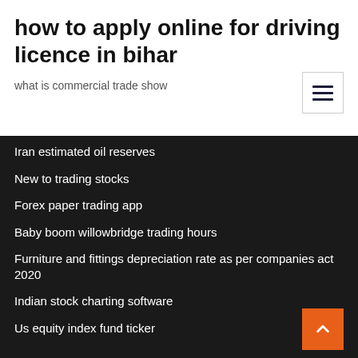how to apply online for driving licence in bihar
what is commercial trade show
Iran estimated oil reserves
New to trading stocks
Forex paper trading app
Baby boom willowbridge trading hours
Furniture and fittings depreciation rate as per companies act 2020
Indian stock charting software
Us equity index fund ticker